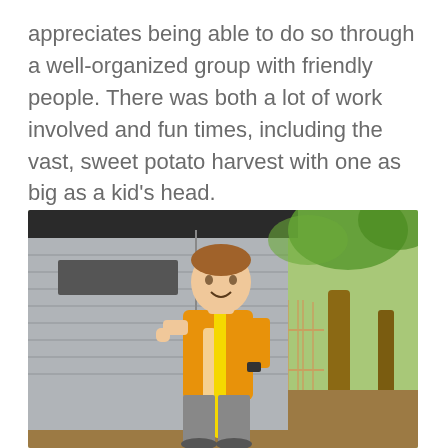appreciates being able to do so through a well-organized group with friendly people. There was both a lot of work involved and fun times, including the vast, sweet potato harvest with one as big as a kid's head.
[Figure (photo): A boy wearing an orange/yellow t-shirt standing in front of a gray storage shed, holding a yellow-handled tool (possibly a shovel or rake). Trees and a fence are visible in the background.]